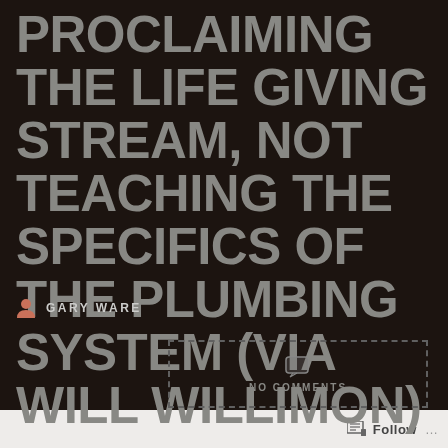PROCLAIMING THE LIFE GIVING STREAM, NOT TEACHING THE SPECIFICS OF THE PLUMBING SYSTEM (VIA WILL WILLIMON)
GARY WARE
NO COMMENTS
Follow